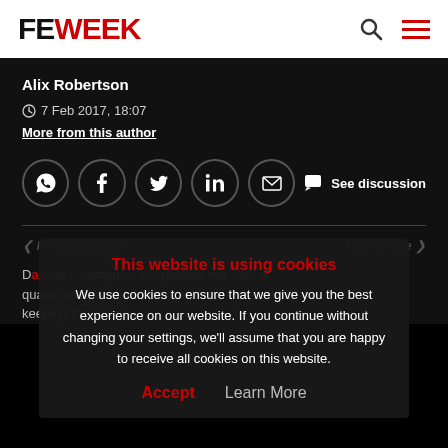FE WEEK
Alix Robertson
7 Feb 2017, 18:07
More from this author
[Figure (infographic): Social share buttons: WhatsApp, Facebook, Twitter, LinkedIn, Email, and See discussion button]
Previous article
Next article
This website is using cookies
We use cookies to ensure that we give you the best experience on our website. If you continue without changing your settings, we'll assume that you are happy to receive all cookies on this website.
Accept   Learn More